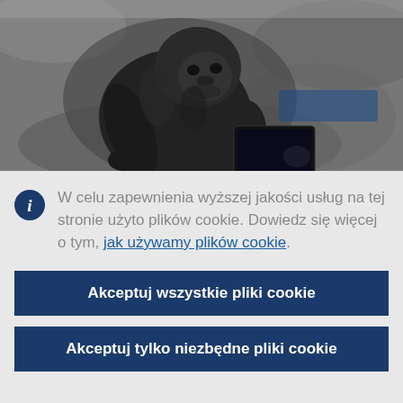[Figure (photo): Black and white photograph of a gorilla sitting outdoors looking at a laptop/tablet screen]
W celu zapewnienia wyższej jakości usług na tej stronie użyto plików cookie. Dowiedz się więcej o tym, jak używamy plików cookie.
Akceptuj wszystkie pliki cookie
Akceptuj tylko niezbędne pliki cookie